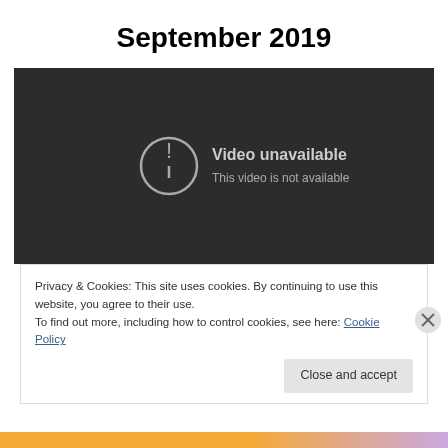September 2019
[Figure (screenshot): Embedded video player showing error: 'Video unavailable — This video is not available' on dark background]
Privacy & Cookies: This site uses cookies. By continuing to use this website, you agree to their use.
To find out more, including how to control cookies, see here: Cookie Policy
Close and accept